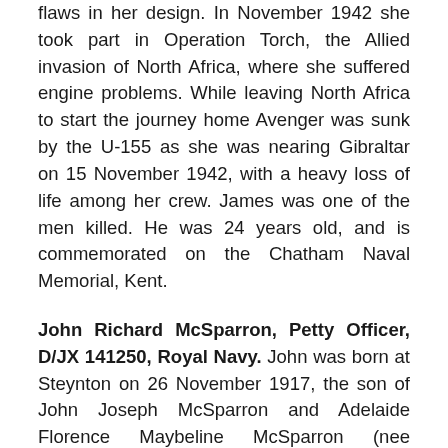flaws in her design. In November 1942 she took part in Operation Torch, the Allied invasion of North Africa, where she suffered engine problems. While leaving North Africa to start the journey home Avenger was sunk by the U-155 as she was nearing Gibraltar on 15 November 1942, with a heavy loss of life among her crew. James was one of the men killed. He was 24 years old, and is commemorated on the Chatham Naval Memorial, Kent.
John Richard McSparron, Petty Officer, D/JX 141250, Royal Navy. John was born at Steynton on 26 November 1917, the son of John Joseph McSparron and Adelaide Florence Maybeline McSparron (nee Howells). He enlisted into the Royal Navy and served with the Royal Navy aboard HMS Prince of Wales. Prince of Wales was a modern King George V-class battleship. She was heavily